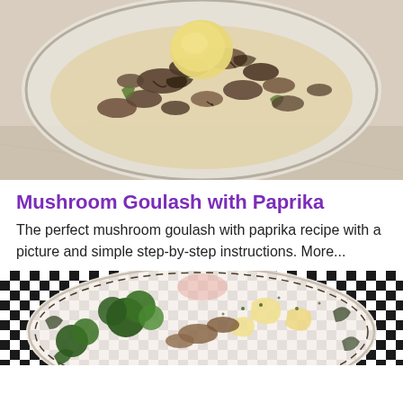[Figure (photo): A plate of mushroom goulash with paprika on a light beige tablecloth. The glass plate contains mushrooms, peppers, and a whole boiled potato in a creamy sauce.]
Mushroom Goulash with Paprika
The perfect mushroom goulash with paprika recipe with a picture and simple step-by-step instructions. More...
[Figure (photo): A decorative plate with mushrooms, broccoli, and pasta shells garnished with herbs, on a black and white checkered tablecloth.]